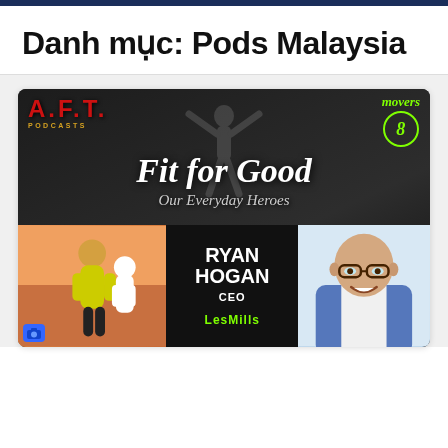Danh mục: Pods Malaysia
[Figure (illustration): AFT Podcasts 'Fit for Good – Our Everyday Heroes' podcast cover featuring Ryan Hogan, CEO of Les Mills. Dark background with silhouette athlete, text in white and green, photos of fitness people on left and Ryan Hogan (bald man with glasses in blue blazer) on right. Movers circle logo top right.]